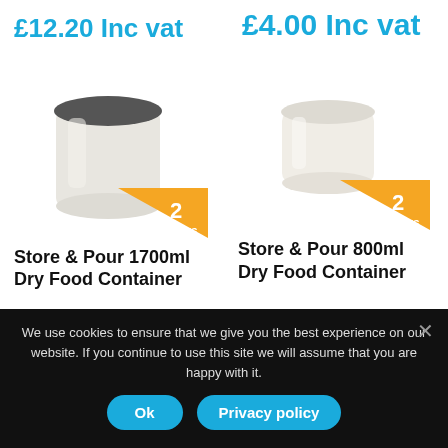£12.20 Inc vat
£4.00 Inc vat
[Figure (photo): Store & Pour 1700ml Dry Food Container with dark grey lid, white/translucent body, with orange triangle badge showing '2 colours']
[Figure (photo): Store & Pour 800ml Dry Food Container, white/translucent body, with orange triangle badge showing '2 colours']
Store & Pour 1700ml Dry Food Container
Store & Pour 800ml Dry Food Container
We use cookies to ensure that we give you the best experience on our website. If you continue to use this site we will assume that you are happy with it.